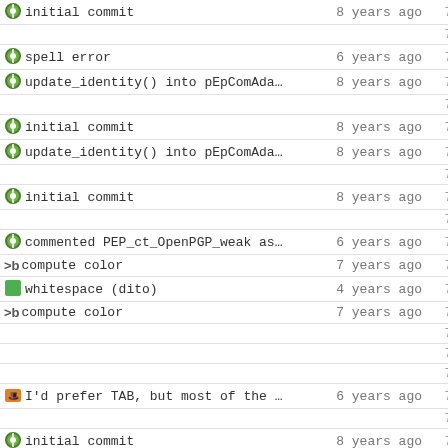| commit | time | line |
| --- | --- | --- |
| initial commit | 8 years ago | 755 |
|  |  | 756 |
| spell error | 6 years ago | 757 |
| update_identity() into pEpComAda… | 8 years ago | 758 |
|  |  | 759 |
| initial commit | 8 years ago | 760 |
| update_identity() into pEpComAda… | 8 years ago | 761 |
|  |  | 762 |
| initial commit | 8 years ago | 763 |
|  |  | 764 |
| commented PEP_ct_OpenPGP_weak as… | 6 years ago | 765 |
| compute color | 7 years ago | 766 |
| whitespace (dito) | 4 years ago | 767 |
| compute color | 7 years ago | 768 |
|  |  | 769 |
|  |  | 770 |
|  |  | 771 |
| I'd prefer TAB, but most of the … | 6 years ago | 772 |
|  |  | 773 |
| initial commit | 8 years ago | 774 |
|  |  | 775 |
|  |  | 776 |